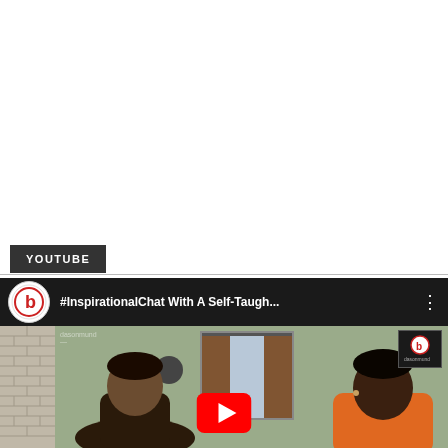YOUTUBE
[Figure (screenshot): YouTube video thumbnail showing '#InspirationalChat With A Self-Taugh...' with a channel avatar (D logo in red circle), three-dot menu, two people in a room setting, and a YouTube play button overlay. A mini channel preview is visible in the top right corner.]